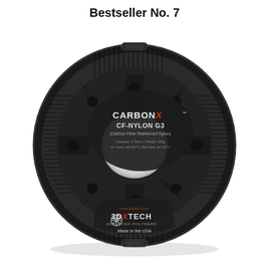Bestseller No. 7
[Figure (photo): A black 3D printer filament spool labeled CARBONX CF-NYLON G3 (Carbon Fiber Reinforced Nylon) by 3DXTECH, Made in the USA. The spool is circular with spokes and a center hole, wound with black carbon fiber filament.]